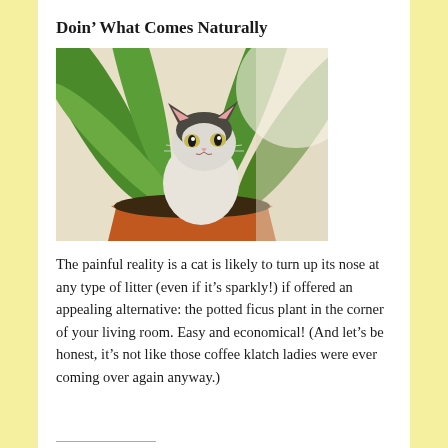Doin’ What Comes Naturally
[Figure (photo): A small black-and-white kitten sitting inside a terracotta pot among green plant leaves (ficus), looking at the camera]
The painful reality is a cat is likely to turn up its nose at any type of litter (even if it’s sparkly!) if offered an appealing alternative: the potted ficus plant in the corner of your living room. Easy and economical! (And let’s be honest, it’s not like those coffee klatch ladies were ever coming over again anyway.)